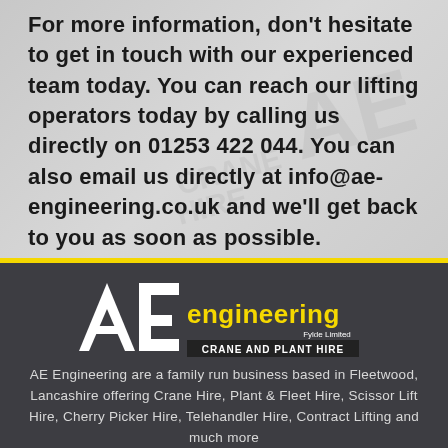For more information, don't hesitate to get in touch with our experienced team today. You can reach our lifting operators today by calling us directly on 01253 422 044. You can also email us directly at info@ae-engineering.co.uk and we'll get back to you as soon as possible.
[Figure (logo): AE Engineering Fylde Limited — Crane and Plant Hire logo, white letters on dark background with yellow accent]
AE Engineering are a family run business based in Fleetwood, Lancashire offering Crane Hire, Plant & Fleet Hire, Scissor Lift Hire, Cherry Picker Hire, Telehandler Hire, Contract Lifting and much more